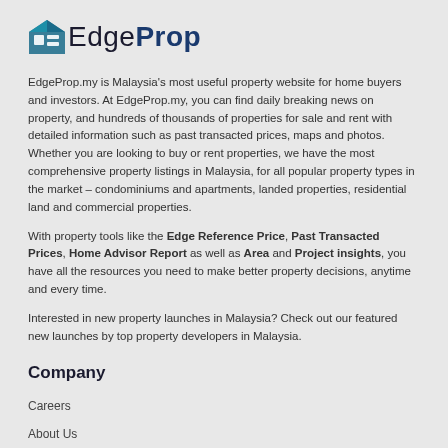[Figure (logo): EdgeProp logo with house/pentagon icon in teal/navy and text 'EdgeProp']
EdgeProp.my is Malaysia's most useful property website for home buyers and investors. At EdgeProp.my, you can find daily breaking news on property, and hundreds of thousands of properties for sale and rent with detailed information such as past transacted prices, maps and photos. Whether you are looking to buy or rent properties, we have the most comprehensive property listings in Malaysia, for all popular property types in the market – condominiums and apartments, landed properties, residential land and commercial properties.
With property tools like the Edge Reference Price, Past Transacted Prices, Home Advisor Report as well as Area and Project insights, you have all the resources you need to make better property decisions, anytime and every time.
Interested in new property launches in Malaysia? Check out our featured new launches by top property developers in Malaysia.
Company
Careers
About Us